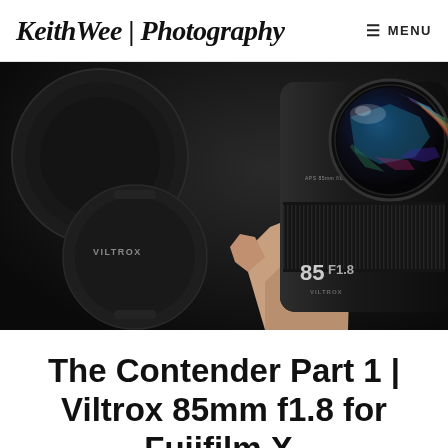KeithWee | Photography  ≡ MENU
[Figure (photo): A hand holding a Viltrox 85mm f1.8 STM lens with colorful lens flare reflections visible on the glass element, alongside a Viltrox lens cap on a dark background.]
The Contender Part 1 | Viltrox 85mm f1.8 for Fujifilm X-